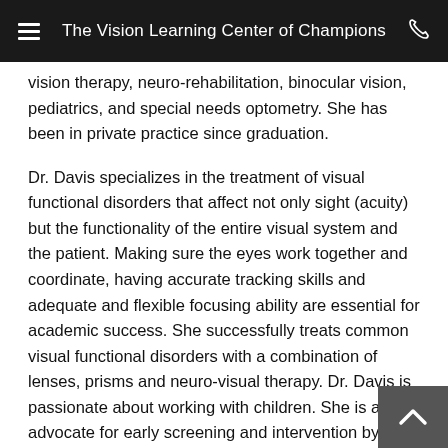The Vision Learning Center of Champions
vision therapy, neuro-rehabilitation, binocular vision, pediatrics, and special needs optometry.  She has been in private practice since graduation.
Dr. Davis specializes in the treatment of visual functional disorders that affect not only sight (acuity) but the functionality of the entire visual system and the patient.  Making sure the eyes work together and coordinate, having accurate tracking skills and adequate and flexible focusing ability are essential for academic success.  She successfully treats common visual functional disorders with a combination of lenses, prisms and neuro-visual therapy.  Dr. Davis is passionate about working with children.  She is an advocate for early screening and intervention by participating in the Infantsee program to provide no-cost vision screenings for infants to rule out and treat conditions that can affect normal healthy visual development.  She is